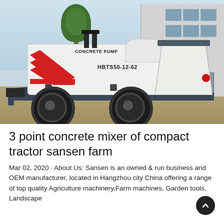[Figure (photo): Photo of a white concrete pump machine labeled 'CONCRETE PUMP' and 'HBTS50-12-62' with red chevron stripes, mounted on a wheeled trailer frame, parked outdoors in front of a building.]
3 point concrete mixer of compact tractor sansen farm
Mar 02, 2020 · About Us: Sansen is an owned & run business and OEM manufacturer, located in Hangzhou city China offering a range of top quality Agriculture machinery, Farm machines, Garden tools, Landscape